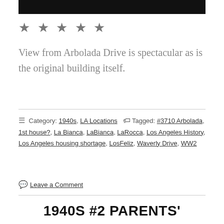[Figure (photo): Black bar / cropped image at top of page]
★ ★ ★ ★ ★
View from Arbolada Drive is spectacular as is the original building itself.
Category: 1940s, LA Locations   Tagged: #3710 Arbolada, 1st house?, La Bianca, LaBianca, LaRocca, Los Angeles History, Los Angeles housing shortage, LosFeliz, Waverly Drive, WW2
Leave a Comment
1940S #2 PARENTS'